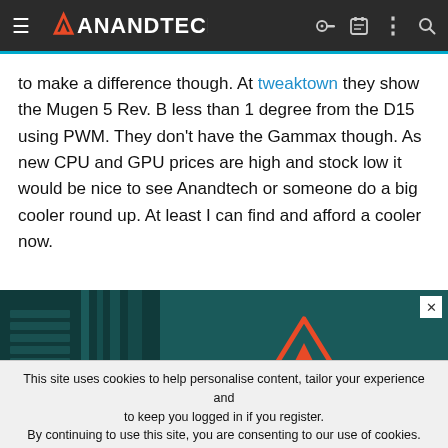AnandTech
to make a difference though. At tweaktown they show the Mugen 5 Rev. B less than 1 degree from the D15 using PWM. They don't have the Gammax though. As new CPU and GPU prices are high and stock low it would be nice to see Anandtech or someone do a big cooler round up. At least I can find and afford a cooler now.
[Figure (other): Advertisement banner for Ampere with logo showing a red triangle/A shape, text 'AMPERE.' and tagline 'Hear Why Major' on a dark teal background]
This site uses cookies to help personalise content, tailor your experience and to keep you logged in if you register.
By continuing to use this site, you are consenting to our use of cookies.
[Figure (other): Advertisement strip at bottom with Petco logo and text 'Get Your Pet Ready For Summe']